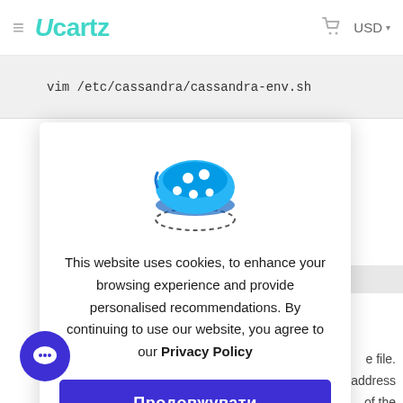≡  Ucartz   🛒  USD ▾
vim /etc/cassandra/cassandra-env.sh
[Figure (illustration): Cookie consent dialog with a blue cookie illustration, dashed selection border. Contains text: 'This website uses cookies, to enhance your browsing experience and provide personalised recommendations. By continuing to use our website, you agree to our Privacy Policy' and a blue 'Продовжувати' button.]
This website uses cookies, to enhance your browsing experience and provide personalised recommendations. By continuing to use our website, you agree to our Privacy Policy
Продовжувати
nv.sh
e file.
address
of the
line: